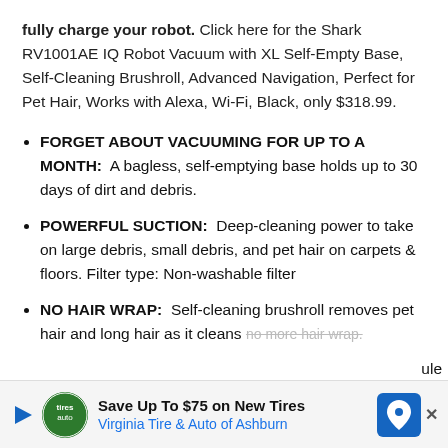fully charge your robot. Click here for the Shark RV1001AE IQ Robot Vacuum with XL Self-Empty Base, Self-Cleaning Brushroll, Advanced Navigation, Perfect for Pet Hair, Works with Alexa, Wi-Fi, Black, only $318.99.
FORGET ABOUT VACUUMING FOR UP TO A MONTH:  A bagless, self-emptying base holds up to 30 days of dirt and debris.
POWERFUL SUCTION:  Deep-cleaning power to take on large debris, small debris, and pet hair on carpets & floors. Filter type: Non-washable filter
NO HAIR WRAP:  Self-cleaning brushroll removes pet hair and long hair as it cleans no more hair wrap.
[Figure (infographic): Advertisement banner for Virginia Tire & Auto of Ashburn. Shows a play button on the left, a green circular logo with 'tires auto' text, text reading 'Save Up To $75 on New Tires' and 'Virginia Tire & Auto of Ashburn', and a blue navigation/map pin icon on the right. 'ule' text partially visible on far right.]